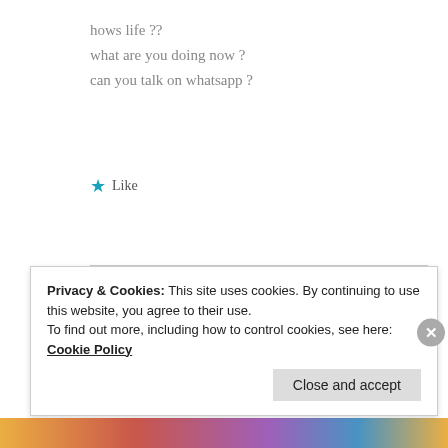hows life ??
what are you doing now ?
can you talk on whatsapp ?
★ Like
ZEALOUS HOMO SAPIENS
30 Apr 2019 at 11:10 pm
Privacy & Cookies: This site uses cookies. By continuing to use this website, you agree to their use.
To find out more, including how to control cookies, see here: Cookie Policy
Close and accept